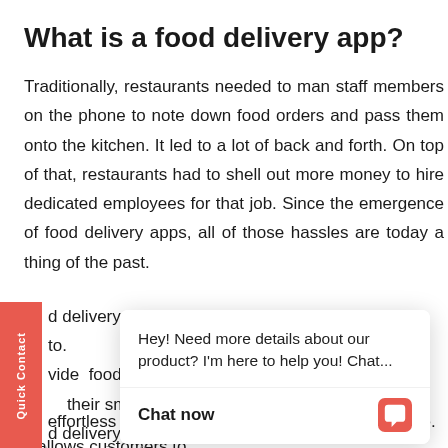What is a food delivery app?
Traditionally, restaurants needed to man staff members on the phone to note down food orders and pass them onto the kitchen. It led to a lot of back and forth. On top of that, restaurants had to shell out more money to hire dedicated employees for that job. Since the emergence of food delivery apps, all of those hassles are today a thing of the past.
d delivery apps are platforms restaurants can use to provide food delivery services. Parallelly, customers can their smartphones to order food from the app. d delivery software makes managing order requests an effortless process for restaurants. At the same time, it allows customers to
[Figure (screenshot): Chat popup overlay with message: Hey! Need more details about our product? I'm here to help you! Chat... and a Chat now button with chat icon]
customer service software
to their doorsteps with